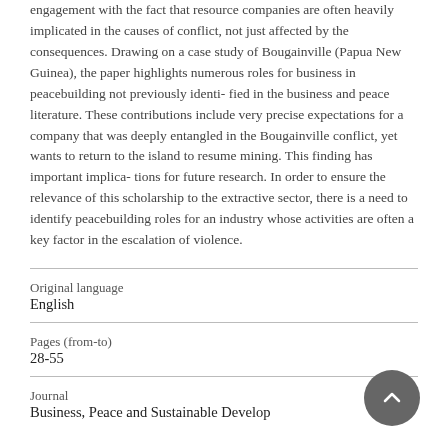engagement with the fact that resource companies are often heavily implicated in the causes of conflict, not just affected by the consequences. Drawing on a case study of Bougainville (Papua New Guinea), the paper highlights numerous roles for business in peacebuilding not previously identi- fied in the business and peace literature. These contributions include very precise expectations for a company that was deeply entangled in the Bougainville conflict, yet wants to return to the island to resume mining. This finding has important implica- tions for future research. In order to ensure the relevance of this scholarship to the extractive sector, there is a need to identify peacebuilding roles for an industry whose activities are often a key factor in the escalation of violence.
| Original language | English |
| Pages (from-to) | 28-55 |
| Journal | Business, Peace and Sustainable Develop |